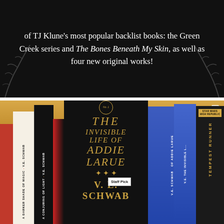of TJ Klune's most popular backlist books: the Green Creek series and The Bones Beneath My Skin, as well as four new original works!
[Figure (photo): Photo of books on a wooden shelf, featuring 'The Invisible Life of Addie LaRue' by V.E. Schwab as the prominent center book face-out, with other books including 'A Conjuring of Light', 'A Darker Shade of Magic', blue-spine V.E. Schwab books, and a Star Wars High Republic 'Tempest Runner' book. A 'Staff Pick' label is visible on the center book.]